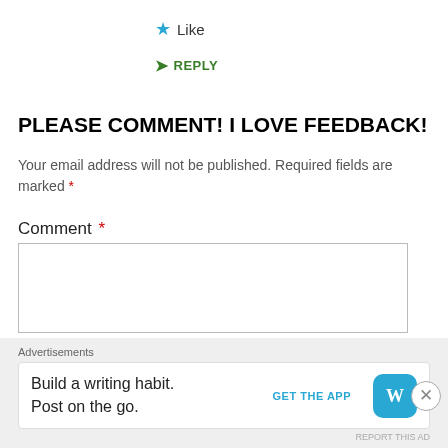Like
REPLY
PLEASE COMMENT! I LOVE FEEDBACK!
Your email address will not be published. Required fields are marked *
Comment *
Advertisements
Build a writing habit. Post on the go.
GET THE APP